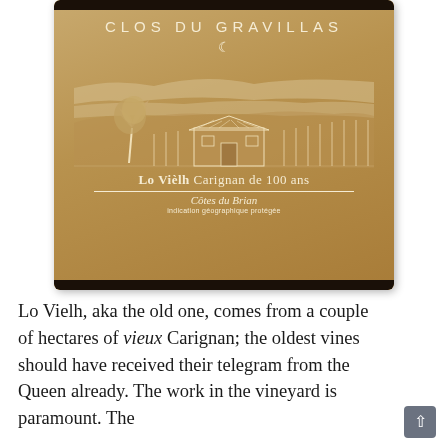[Figure (photo): Wine bottle label for Clos du Gravillas 'Lo Vièlh Carignan de 100 ans', Côtes du Brian. The label has a warm tan/brown color with an illustration of a vineyard landscape featuring a farmhouse, a tree, rolling hills, and a crescent moon. Text reads: CLOS DU GRAVILLAS, Lo Vièlh Carignan de 100 ans, Côtes du Brian, indication géographique protégée.]
Lo Vielh, aka the old one, comes from a couple of hectares of vieux Carignan; the oldest vines should have received their telegram from the Queen already. The work in the vineyard is paramount. The